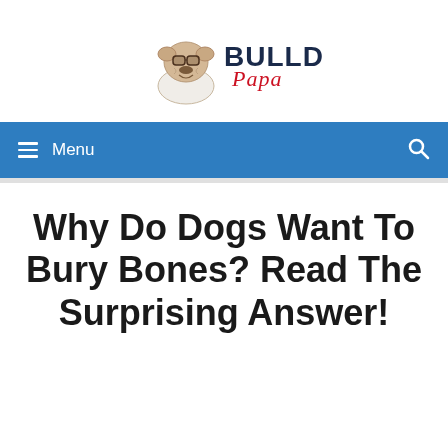[Figure (logo): Bulldog Papa website logo featuring a cartoon French Bulldog wearing sunglasses with 'BULLDOG Papa' text]
≡ Menu
Why Do Dogs Want To Bury Bones? Read The Surprising Answer!